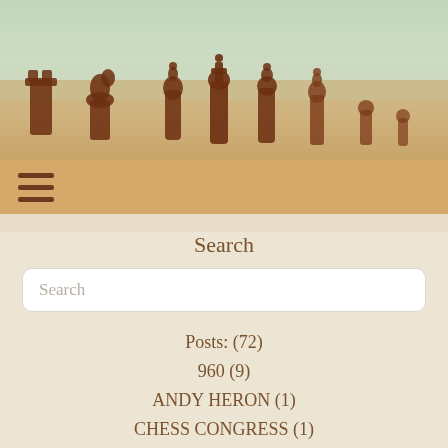[Figure (photo): Photo of wooden chess pieces silhouetted against a blurred green/white background, arranged in a row]
≡ (hamburger menu icon)
Search
Search (input field placeholder)
Posts: (72)
960 (9)
ANDY HERON (1)
CHESS CONGRESS (1)
GPCC (13)
OTB (2)
POLY2020 II (8)
QUICKPLAY (6)
ROUND ROBIN (28)